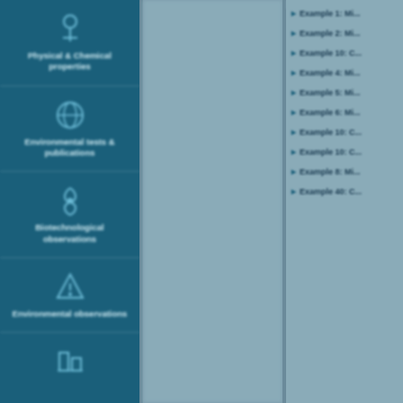[Figure (infographic): Left sidebar with icons and category labels for scientific/material properties: Physical & Chemical properties, Environmental tests & publications, Biotechnological observations, Environmental observations, and two more icon sections below]
Example 1: Mi...
Example 2: Mi...
Example 10: C...
Example 4: Mi...
Example 5: Mi...
Example 6: Mi...
Example 10: C...
Example 10: C...
Example 8: Mi...
Example 40: C...